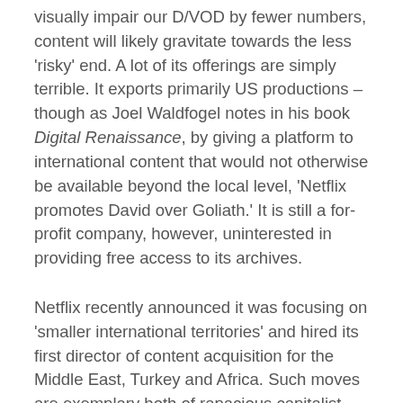visually impair our D/VOD by fewer numbers, content will likely gravitate towards the less 'risky' end. A lot of its offerings are simply terrible. It exports primarily US productions – though as Joel Waldfogel notes in his book Digital Renaissance, by giving a platform to international content that would not otherwise be available beyond the local level, 'Netflix promotes David over Goliath.' It is still a for-profit company, however, uninterested in providing free access to its archives.
Netflix recently announced it was focusing on 'smaller international territories' and hired its first director of content acquisition for the Middle East, Turkey and Africa. Such moves are exemplary both of rapacious capitalist expansion and of expanding notions of stories worth telling. In any case, two South African original series – Queen Sono and Blood & Water – are coming soon. Lionheart, a slyly [continues]